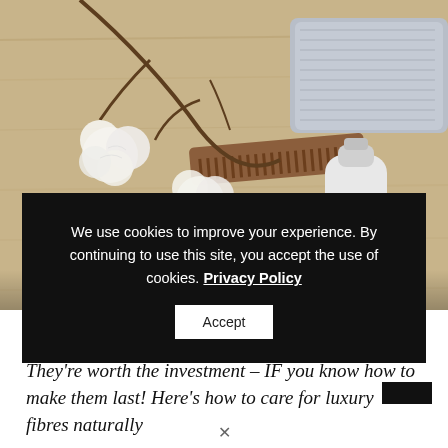[Figure (photo): Flat lay photo on a wooden surface showing cotton bolls on a branch, a rolled grey towel, a wooden comb, a dark soap bar, and a white bottle — natural/organic grooming products]
We use cookies to improve your experience. By continuing to use this site, you accept the use of cookies. Privacy Policy
Accept
They're worth the investment – IF you know how to make them last! Here's how to care for luxury fibres naturally